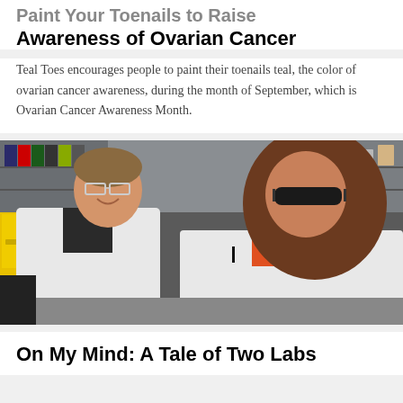Paint Your Toenails to Raise Awareness of Ovarian Cancer
Teal Toes encourages people to paint their toenails teal, the color of ovarian cancer awareness, during the month of September, which is Ovarian Cancer Awareness Month.
[Figure (photo): Two researchers in white lab coats in a laboratory setting. A tall male researcher stands smiling, and a female researcher with long brown hair and glasses looks down at something on a lab bench. Laboratory shelves with supplies visible in the background.]
On My Mind: A Tale of Two Labs